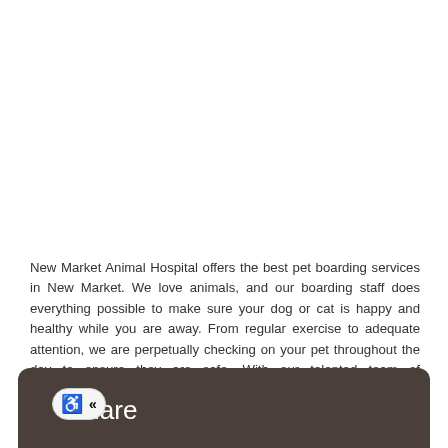New Market Animal Hospital offers the best pet boarding services in New Market. We love animals, and our boarding staff does everything possible to make sure your dog or cat is happy and healthy while you are away. From regular exercise to adequate attention, we are perpetually checking on your pet throughout the day to ensure they are safe. With our talented team of veterinarians close by, you can rest assured that your cat or dog will be well taken care of while you are away. For pet boarding services, or any other pet services, such as regular exams, emergency care, or diagnostics and surgery, give us a call today!
Share